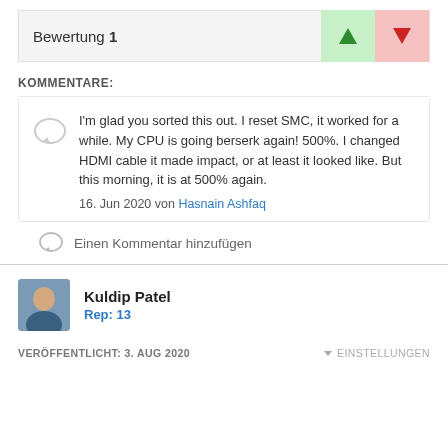Bewertung 1
KOMMENTARE:
I'm glad you sorted this out. I reset SMC, it worked for a while. My CPU is going berserk again! 500%. I changed HDMI cable it made impact, or at least it looked like. But this morning, it is at 500% again.
16. Jun 2020 von Hasnain Ashfaq
Einen Kommentar hinzufügen
Kuldip Patel
Rep: 13
VERÖFFENTLICHT: 3. AUG 2020
EINSTELLUNGEN